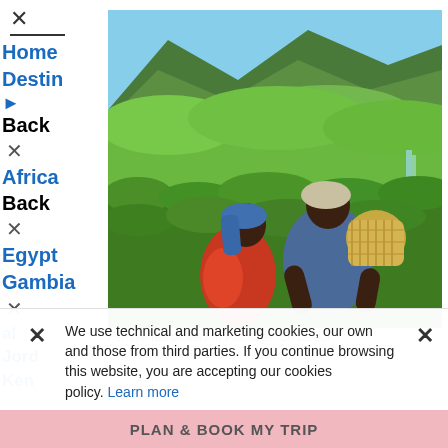× Home Destinations ► Back × Africa Back × Egypt Gambia × al Jordan Kenya
[Figure (photo): Two women picking tea leaves in a lush green tea plantation with mountainous landscape in Sri Lanka. The woman in front wears a blue top and carries a wicker basket on her back; the woman behind wears a red and orange top with a blue headscarf.]
Female tea pickers in Plantage, Sri Lanka
Photo: Shutterstock.com
We use technical and marketing cookies, our own and those from third parties. If you continue browsing this website, you are accepting our cookies policy. Learn more
PLAN & BOOK MY TRIP